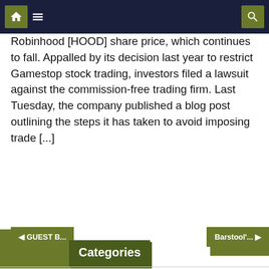Navigation bar with home and menu icons
Robinhood [HOOD] share price, which continues to fall. Appalled by its decision last year to restrict Gamestop stock trading, investors filed a lawsuit against the commission-free trading firm. Last Tuesday, the company published a blog post outlining the steps it has taken to avoid imposing trade [...]
Categories
Blog creator
Blog fee
Blog rate
Blog service